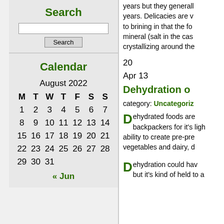Search
Search input field and button
Calendar
August 2022
M T W T F S S
1 2 3 4 5 6 7
8 9 10 11 12 13 14
15 16 17 18 19 20 21
22 23 24 25 26 27 28
29 30 31
« Jun
years but they generally years. Delicacies are v to brining in that the fo mineral (salt in the case crystallizing around the
20
Apr 13
Dehydration o
category: Uncategoriz
Dehydrated foods are backpackers for it's ligh ability to create pre-pre vegetables and dairy, d
Dehydration could hav but it's kind of held to a